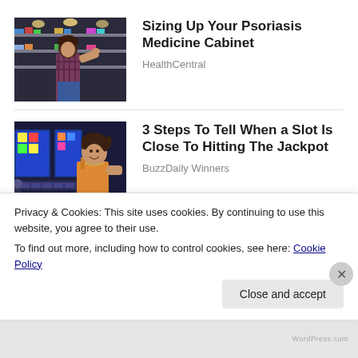[Figure (photo): Woman browsing items in a pharmacy/store aisle with shelves of products]
Sizing Up Your Psoriasis Medicine Cabinet
HealthCentral
[Figure (photo): Woman sitting at slot machines in a casino, smiling at camera]
3 Steps To Tell When a Slot Is Close To Hitting The Jackpot
BuzzDaily Winners
Privacy & Cookies: This site uses cookies. By continuing to use this website, you agree to their use.
To find out more, including how to control cookies, see here: Cookie Policy
Close and accept